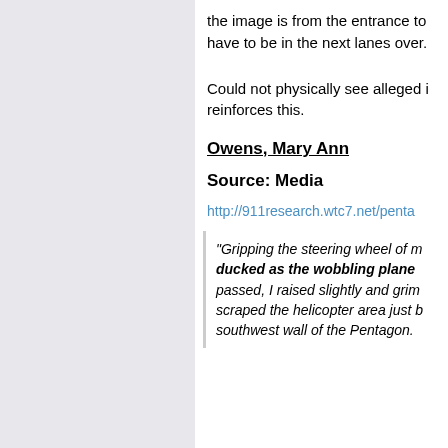the image is from the entrance to have to be in the next lanes over.
Could not physically see alleged i reinforces this.
Owens, Mary Ann
Source: Media
http://911research.wtc7.net/penta
"Gripping the steering wheel of m ducked as the wobbling plane passed, I raised slightly and grim scraped the helicopter area just b southwest wall of the Pentagon.